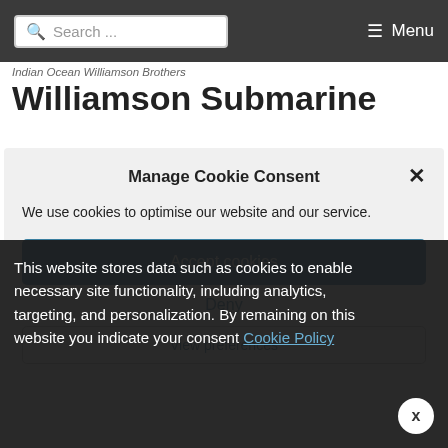Search ... Menu
Indian Ocean Williamson Brothers Williamson Submarine
Manage Cookie Consent
We use cookies to optimise our website and our service.
Accept cookies
Deny
View preferences
This website stores data such as cookies to enable necessary site functionality, including analytics, targeting, and personalization. By remaining on this website you indicate your consent Cookie Policy